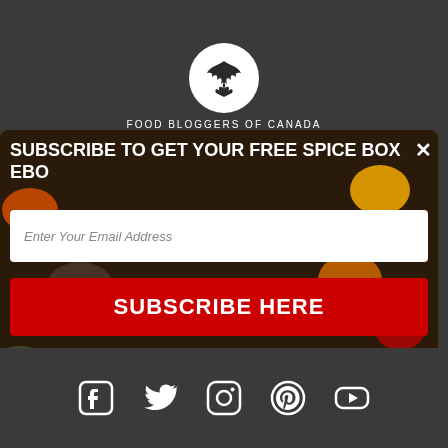[Figure (logo): Circular white logo with a maple leaf silhouette for Food Bloggers of Canada]
FOOD BLOGGERS OF CANADA
SUBSCRIBE TO GET YOUR FREE SPICE BOX EBO
[Figure (photo): Background photo of colorful spices in bowls and compartments arranged on a dark surface]
Enter Your Email Address
SUBSCRIBE HERE
You are subscribing to the FBC Food Lovers Newsletter.
You can unsubscribe any time!
[Figure (infographic): Social media icons row: Facebook, Twitter, Instagram, Pinterest, YouTube]